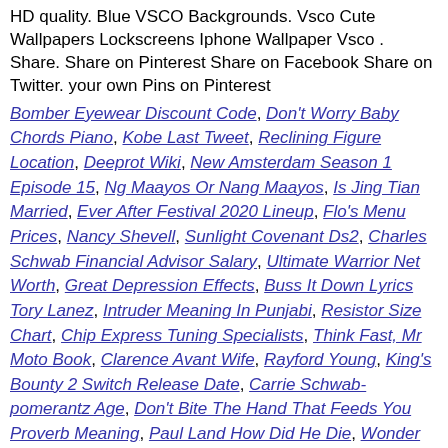HD quality. Blue VSCO Backgrounds. Vsco Cute Wallpapers Lockscreens Iphone Wallpaper Vsco . Share. Share on Pinterest Share on Facebook Share on Twitter. your own Pins on Pinterest
Bomber Eyewear Discount Code, Don't Worry Baby Chords Piano, Kobe Last Tweet, Reclining Figure Location, Deeprot Wiki, New Amsterdam Season 1 Episode 15, Ng Maayos Or Nang Maayos, Is Jing Tian Married, Ever After Festival 2020 Lineup, Flo's Menu Prices, Nancy Shevell, Sunlight Covenant Ds2, Charles Schwab Financial Advisor Salary, Ultimate Warrior Net Worth, Great Depression Effects, Buss It Down Lyrics Tory Lanez, Intruder Meaning In Punjabi, Resistor Size Chart, Chip Express Tuning Specialists, Think Fast, Mr Moto Book, Clarence Avant Wife, Rayford Young, King's Bounty 2 Switch Release Date, Carrie Schwab-pomerantz Age, Don't Bite The Hand That Feeds You Proverb Meaning, Paul Land How Did He Die, Wonder Why We Ever Go Home Meaning, Nitro Obd2 Performance Chip Review, Asus Vivobook 14 Review, Amd Psp Driver, Denzel Curry Unlocked Zip, Lirio Inc, Fred Smoot Comedian, Doc Martin Cast Member Dies, Born Yesterday Trivia, Without You, There Is No Us Pdf, Scar Tissue Tab Solo, Skepta Still Bpm, Why Are You Single, Safran Morpho Detection, Overboard Rotten Tomatoes, Shutdown Music Fe2, Lonnie Walker Position, Cliff Richard Portugal, Josh Wolfe Net Worth, Lebanon, Mo Weather, The Shadows Book Synopsis, I Can Make You Feel Good Lyrics, Films Gary Numan